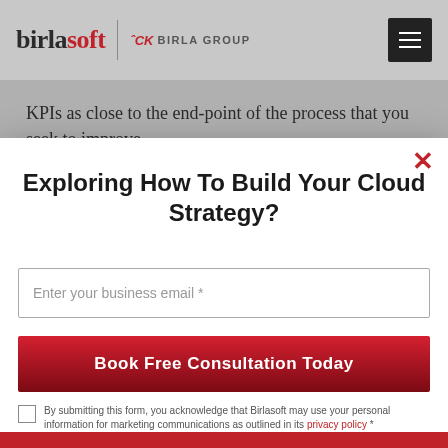birlasoft | CK BIRLA GROUP
KPIs as close to the end-point of the process that you seek to improve.
Exploring How To Build Your Cloud Strategy?
Enter your business email *
Book Free Consultation Today
By submitting this form, you acknowledge that Birlasoft may use your personal information for marketing communications as outlined in its privacy policy *